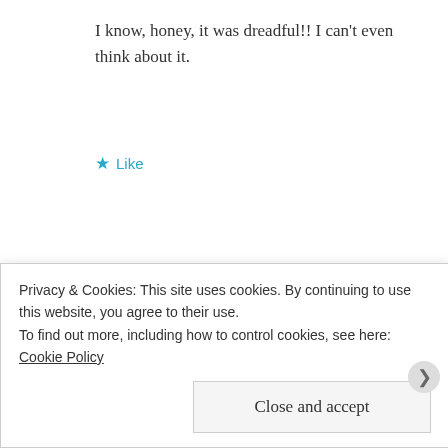I know, honey, it was dreadful!! I can't even think about it.
★ Like
Advertisements
Vanessa-Jane Chapman
JUNE 19, 2013 AT 1:28 PM
Privacy & Cookies: This site uses cookies. By continuing to use this website, you agree to their use.
To find out more, including how to control cookies, see here: Cookie Policy
Close and accept